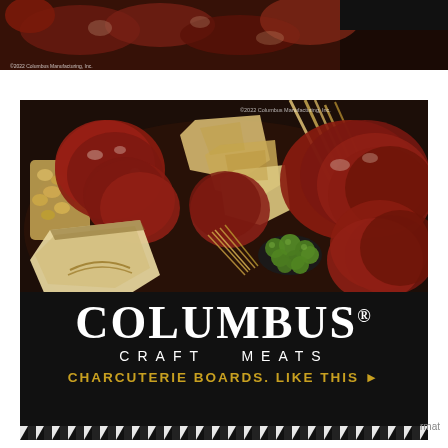[Figure (photo): Partial charcuterie board photo strip at top of page showing cured meats and charcuterie items]
[Figure (photo): Columbus Craft Meats advertisement featuring a charcuterie board with cured meats, cheeses, olives, nuts and crackers arranged on a dark surface, with the Columbus Craft Meats brand name and tagline 'Charcuterie Boards. Like This' overlaid on the dark lower section]
COLUMBUS®
CRAFT MEATS
CHARCUTERIE BOARDS. LIKE THIS ▶